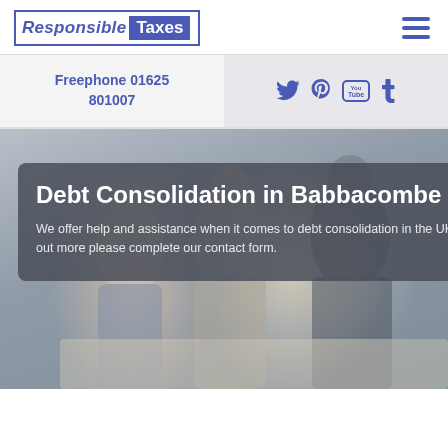Responsible Taxes
Freephone 01625 801007
Debt Consolidation in Babbacombe
We offer help and assistance when it comes to debt consolidation in the UK. To find out more please complete our contact form.